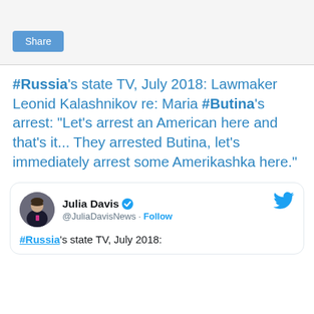[Figure (screenshot): Share button card with light gray background]
#Russia's state TV, July 2018: Lawmaker Leonid Kalashnikov re: Maria #Butina's arrest: "Let's arrest an American here and that's it... They arrested Butina, let's immediately arrest some Amerikashka here."
[Figure (screenshot): Twitter card with Julia Davis @JuliaDavisNews profile, verified checkmark, Follow button, Twitter bird logo. Tweet text: #Russia's state TV, July 2018:]